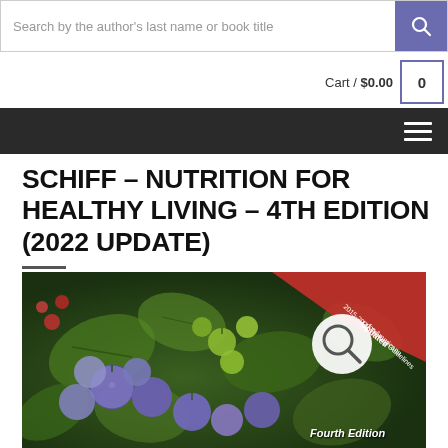Search by the author's last name or book title
Cart / $0.00  0
hamburger menu navigation
SCHIFF – NUTRITION FOR HEALTHY LIVING – 4TH EDITION (2022 UPDATE)
[Figure (photo): Book cover of Schiff Nutrition for Healthy Living 4th Edition showing colorful berries and fruits with a red banner reading 'Updated 2015-2020 Dietary Guidelines for Americans' and text 'Fourth Edition' in the bottom right corner. A magnifying glass icon appears on the cover.]